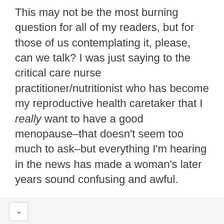This may not be the most burning question for all of my readers, but for those of us contemplating it, please, can we talk? I was just saying to the critical care nurse practitioner/nutritionist who has become my reproductive health caretaker that I really want to have a good menopause–that doesn't seem too much to ask–but everything I'm hearing in the news has made a woman's later years sound confusing and awful.